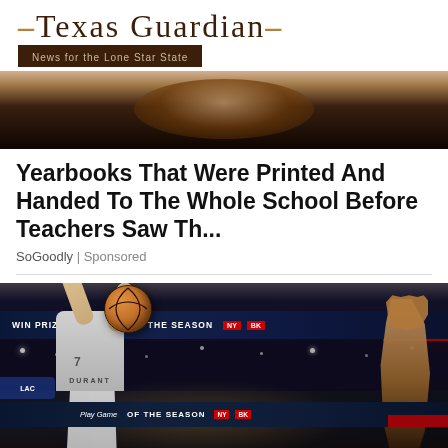Texas Guardian — News for the Lone Star State
[Figure (photo): Partial photo at top showing a dark background with a person, cropped]
Yearbooks That Were Printed And Handed To The Whole School Before Teachers Saw Th...
SoGoodly | Sponsored
[Figure (photo): Basketball photo showing Durant #7 shooting over a defender in an NBA arena, with LED scoreboard strips visible reading 'OF THE SEASON']